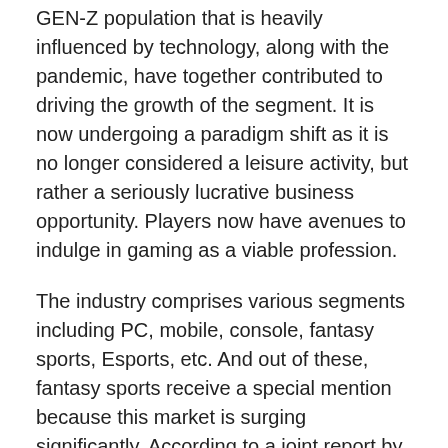GEN-Z population that is heavily influenced by technology, along with the pandemic, have together contributed to driving the growth of the segment. It is now undergoing a paradigm shift as it is no longer considered a leisure activity, but rather a seriously lucrative business opportunity. Players now have avenues to indulge in gaming as a viable profession.
The industry comprises various segments including PC, mobile, console, fantasy sports, Esports, etc. And out of these, fantasy sports receive a special mention because this market is surging significantly. According to a joint report by the Federation of Indian Fantasy Sports (FIFS) and Deloitte, India currently is one of the largest fantasy sports markets at the global level, with a user base of over 13 crores.